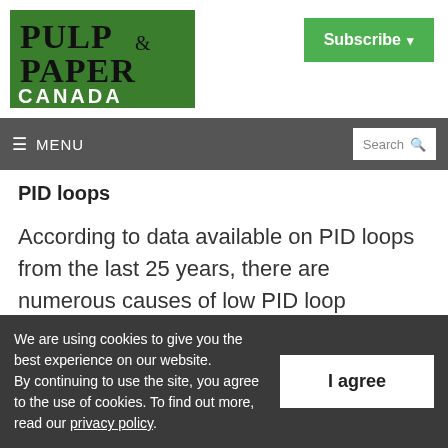[Figure (logo): Pulp & Paper Canada logo — green background with black and white text]
Subscribe ▾
≡ MENU   Search 🔍
PID loops
According to data available on PID loops from the last 25 years, there are numerous causes of low PID loop performance, such as valve
We are using cookies to give you the best experience on our website. By continuing to use the site, you agree to the use of cookies. To find out more, read our privacy policy.